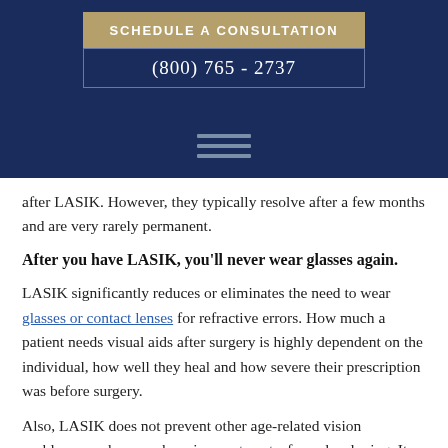[Figure (other): Dark navy blue header banner with a tan/gold 'SCHEDULE A CONSULTATION' button box, a bordered phone number box showing '(800) 765 - 2737', and a hamburger menu icon (three horizontal bars) below]
after LASIK. However, they typically resolve after a few months and are very rarely permanent.
After you have LASIK, you'll never wear glasses again.
LASIK significantly reduces or eliminates the need to wear glasses or contact lenses for refractive errors. How much a patient needs visual aids after surgery is highly dependent on the individual, how well they heal and how severe their prescription was before surgery.
Also, LASIK does not prevent other age-related vision problems, such as presbyopia or cataracts, from developing. It